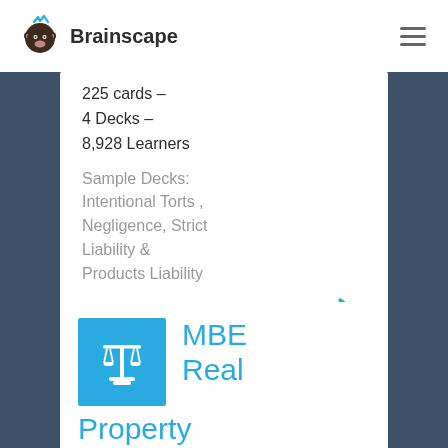Brainscape
225 cards –
4 Decks –
8,928 Learners
Sample Decks: Intentional Torts , Negligence, Strict Liability & Products Liability
MBE Real Property